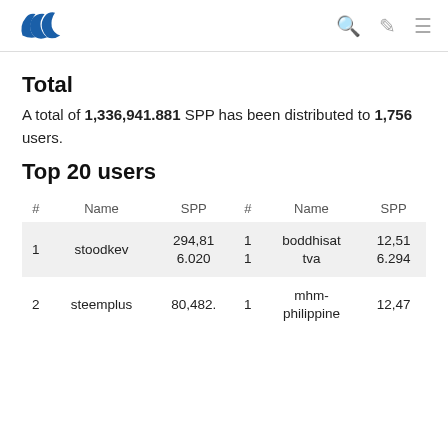Steem logo, search icon, edit icon, menu icon
Total
A total of 1,336,941.881 SPP has been distributed to 1,756 users.
Top 20 users
| # | Name | SPP | # | Name | SPP |
| --- | --- | --- | --- | --- | --- |
| 1 | stoodkev | 294,816.020 | 11 | boddhisattva | 12,516.294 |
| 2 | steemplus | 80,482. | 12 | mhm-philippine | 12,47 |